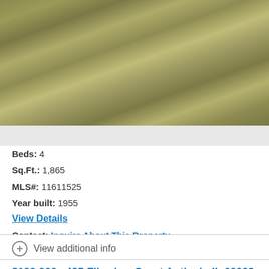[Figure (photo): Aerial or ground-level photo of a yard covered in dry golden-brown grass or similar ground cover]
Beds: 4
Sq.Ft.: 1,865
MLS#: 11611525
Year built: 1955
View Details
Contact: Inquire About This Property, delmonte@delmonteho...
Courtesy: Coldwell Banker Hometrust, R.E
View additional info
$199,900  425 Filweber Court Antioch, IL 60002